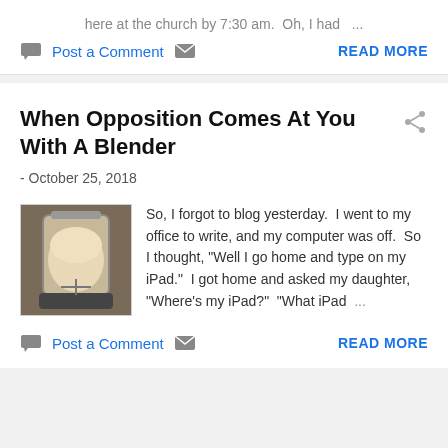here at the church by 7:30 am.  Oh, I had  ...
Post a Comment   READ MORE
When Opposition Comes At You With A Blender
- October 25, 2018
[Figure (photo): Photo of a blender containing a white/cream colored liquid or food mixture]
So, I forgot to blog yesterday.  I went to my office to write, and my computer was off.  So I thought, "Well I go home and type on my iPad."  I got home and asked my daughter, "Where's my iPad?"  "What iPad  ...
Post a Comment   READ MORE